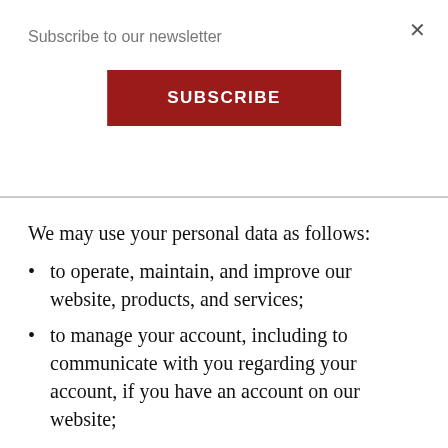Subscribe to our newsletter
SUBSCRIBE
We may use your personal data as follows:
to operate, maintain, and improve our website, products, and services;
to manage your account, including to communicate with you regarding your account, if you have an account on our website;
to operate and administer our rewards program and other promotions you